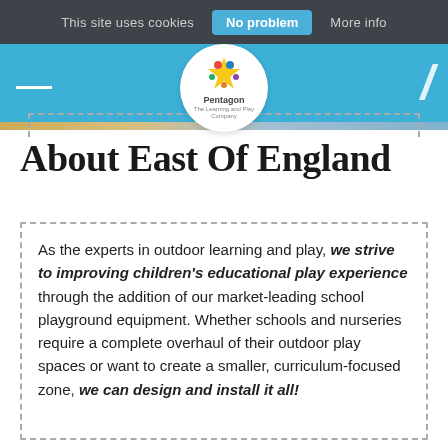This site uses cookies  No problem  More info
[Figure (logo): Pentagon logo: colorful star/figure icon with text 'Pentagon' and tagline below, in a white circle on a blue header band]
About East Of England
As the experts in outdoor learning and play, we strive to improving children's educational play experience through the addition of our market-leading school playground equipment. Whether schools and nurseries require a complete overhaul of their outdoor play spaces or want to create a smaller, curriculum-focused zone, we can design and install it all!